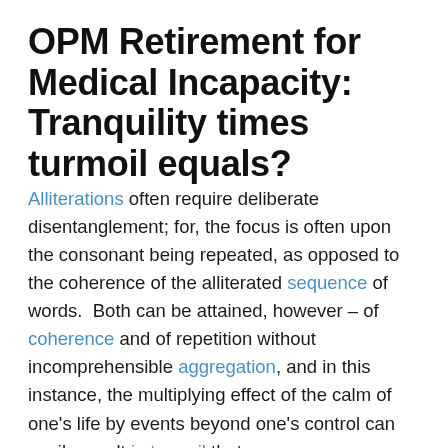OPM Retirement for Medical Incapacity: Tranquility times turmoil equals?
Alliterations often require deliberate disentanglement; for, the focus is often upon the consonant being repeated, as opposed to the coherence of the alliterated sequence of words.  Both can be attained, however – of coherence and of repetition without incomprehensible aggregation, and in this instance, the multiplying effect of the calm of one's life by events beyond one's control can easily result in turmoil that was never requested, never desired and remained always unasked and unrequested.
Tranquility x turmoil is the idea that we fail to enjoy the relative calm in our lives because of the anxiousness of